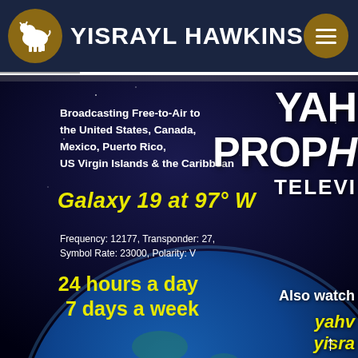YISRAYL HAWKINS
[Figure (screenshot): Yah's Prophecy Television broadcast advertisement on a space/earth background. Text reads: Broadcasting Free-to-Air to the United States, Canada, Mexico, Puerto Rico, US Virgin Islands & the Caribbean. Galaxy 19 at 97° W. Frequency: 12177, Transponder: 27, Symbol Rate: 23000, Polarity: V. 24 hours a day 7 days a week. Also watch yahv... yisra... with an upward arrow. Partial logo text YAH PROPHI TELEVI visible on right side.]